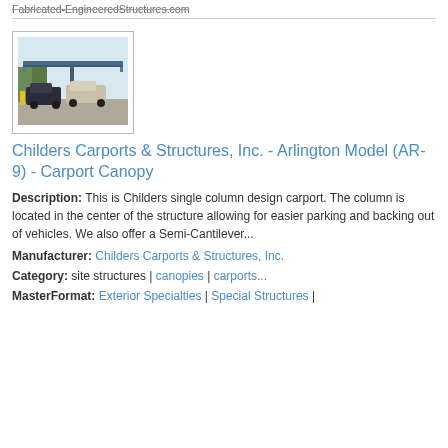Fabricated-EngineeredStructures.com
[Figure (photo): Photo of a carport canopy structure with cars parked underneath, single column design, outdoor setting with trees in background]
Childers Carports & Structures, Inc. - Arlington Model (AR-9) - Carport Canopy
Description: This is Childers single column design carport. The column is located in the center of the structure allowing for easier parking and backing out of vehicles. We also offer a Semi-Cantilever...
Manufacturer: Childers Carports & Structures, Inc.
Category: site structures | canopies | carports...
MasterFormat: Exterior Specialties | Special Structures |